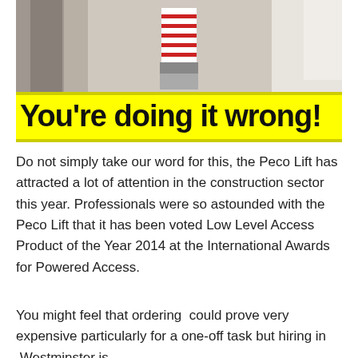[Figure (photo): Photo of a construction scene showing a pipe or column being taped or wrapped, viewed from a low angle inside a building. Overlaid with a yellow-background banner text reading 'You're doing it wrong!']
Do not simply take our word for this, the Peco Lift has attracted a lot of attention in the construction sector this year. Professionals were so astounded with the Peco Lift that it has been voted Low Level Access Product of the Year 2014 at the International Awards for Powered Access.
You might feel that ordering  could prove very expensive particularly for a one-off task but hiring in  Westminster is f...